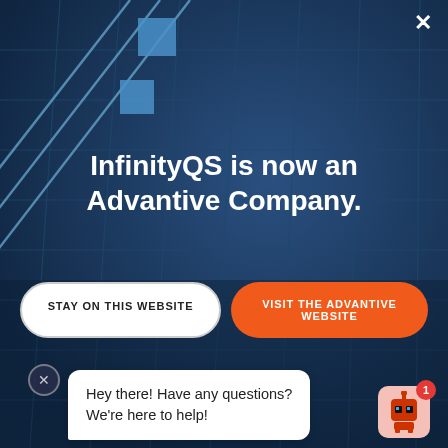[Figure (screenshot): Dark blue building/glass facade background with grid lines and geometric shapes]
InfinityQS is now an Advantive Company.
STAY ON THIS WEBSITE
VISIT THE ADVANTIVE WEBSITE
Hey there! Have any questions? We're here to help!